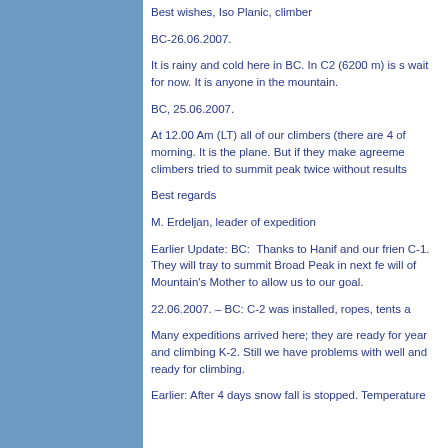Best wishes, Iso Planic, climber
BC-26.06.2007.
It is rainy and cold here in BC. In C2 (6200 m) is s... wait for now. It is anyone in the mountain.
BC, 25.06.2007.
At 12.00 Am (LT) all of our climbers (there are 4 of... morning. It is the plane. But if they make agreeme... climbers tried to summit peak twice without results
Best regards
M. Erdeljan, leader of expedition
Earlier Update: BC:  Thanks to Hanif and our frie... C-1. They will tray to summit Broad Peak in next fe... will of Mountain's Mother to allow us to our goal.
22.06.2007. – BC: C-2 was installed, ropes, tents a...
Many expeditions arrived here; they are ready for... year and climbing K-2. Still we have problems with... well and ready for climbing.
Earlier: After 4 days snow fall is stopped. Temperature...